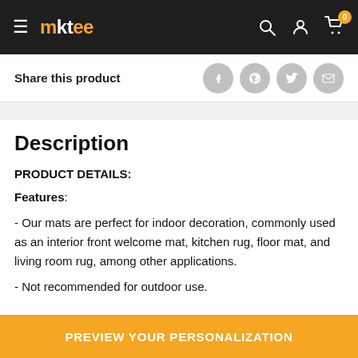mktee — navigation header with logo, search, account, and cart icons
Share this product
Description
PRODUCT DETAILS:
Features:
- Our mats are perfect for indoor decoration, commonly used as an interior front welcome mat, kitchen rug, floor mat, and living room rug, among other applications.
- Not recommended for outdoor use.
PREVIEW YOUR PERSONALIZATION